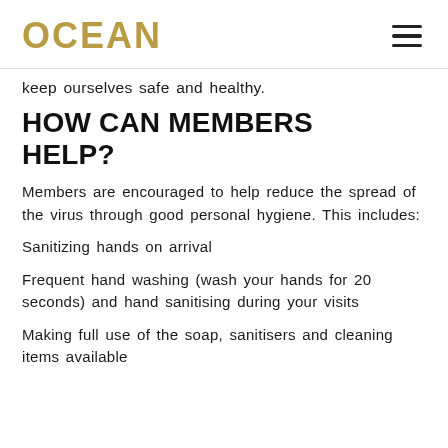OCEAN
keep ourselves safe and healthy.
HOW CAN MEMBERS HELP?
Members are encouraged to help reduce the spread of the virus through good personal hygiene. This includes:
Sanitizing hands on arrival
Frequent hand washing (wash your hands for 20 seconds) and hand sanitising during your visits
Making full use of the soap, sanitisers and cleaning items available